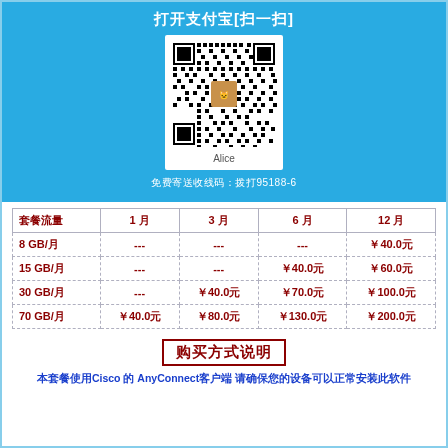打开支付宝[扫一扫]
[Figure (other): QR code for Alipay payment with Alice label]
免费寄送收线码：拨打95188-6
| 套餐流量 | 1月 | 3月 | 6月 | 12月 |
| --- | --- | --- | --- | --- |
| 8 GB/月 | --- | --- | --- | ￥40.0元 |
| 15 GB/月 | --- | --- | ￥40.0元 | ￥60.0元 |
| 30 GB/月 | --- | ￥40.0元 | ￥70.0元 | ￥100.0元 |
| 70 GB/月 | ￥40.0元 | ￥80.0元 | ￥130.0元 | ￥200.0元 |
购买方式说明
本套餐使用Cisco 的 AnyConnect客户端 请确保您的设备可以正常安装此软件